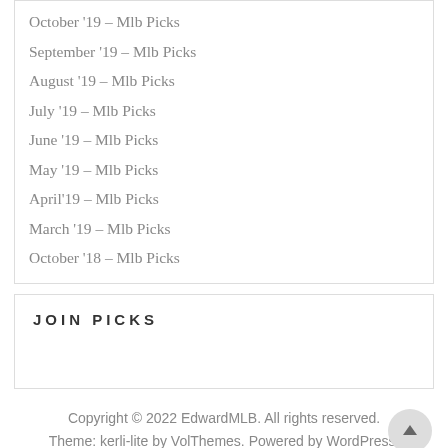October '19 – Mlb Picks
September '19 – Mlb Picks
August '19 – Mlb Picks
July '19 – Mlb Picks
June '19 – Mlb Picks
May '19 – Mlb Picks
April'19 – Mlb Picks
March '19 – Mlb Picks
October '18 – Mlb Picks
JOIN PICKS
Copyright © 2022 EdwardMLB. All rights reserved.
Theme: kerli-lite by VolThemes. Powered by WordPress.